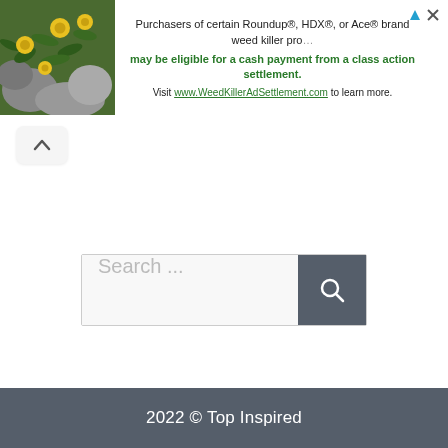[Figure (screenshot): Banner advertisement with plant/flower background image on left and text about Roundup class action settlement on right]
Purchasers of certain Roundup®, HDX®, or Ace® brand weed killer products may be eligible for a cash payment from a class action settlement. Visit www.WeedKillerAdSettlement.com to learn more.
[Figure (screenshot): Navigation bar with chevron/up arrow button]
[Figure (screenshot): Search bar with text placeholder 'Search ...' and a dark search button with magnifying glass icon]
2022 © Top Inspired